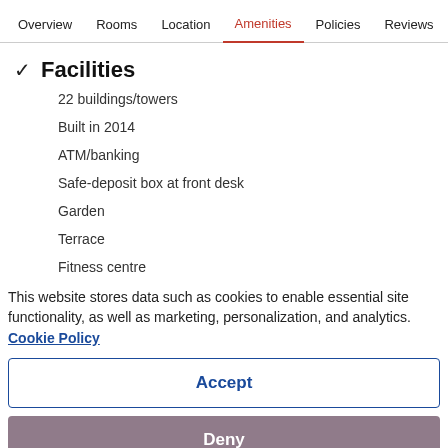Overview  Rooms  Location  Amenities  Policies  Reviews
✓ Facilities
22 buildings/towers
Built in 2014
ATM/banking
Safe-deposit box at front desk
Garden
Terrace
Fitness centre
This website stores data such as cookies to enable essential site functionality, as well as marketing, personalization, and analytics. Cookie Policy
Accept
Deny